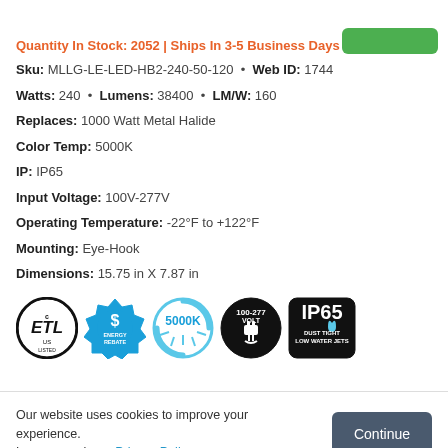Quantity In Stock: 2052 | Ships In 3-5 Business Days
Sku: MLLG-LE-LED-HB2-240-50-120 • Web ID: 1744
Watts: 240 • Lumens: 38400 • LM/W: 160
Replaces: 1000 Watt Metal Halide
Color Temp: 5000K
IP: IP65
Input Voltage: 100V-277V
Operating Temperature: -22°F to +122°F
Mounting: Eye-Hook
Dimensions: 15.75 in X 7.87 in
[Figure (logo): Certification and specification badges: ETL Listed, Energy Rebate, 5000K color temperature, 100-277 Volt, IP65 Dust Tight Low Water Jets]
Our website uses cookies to improve your experience. Learn more here: Privacy Policy.